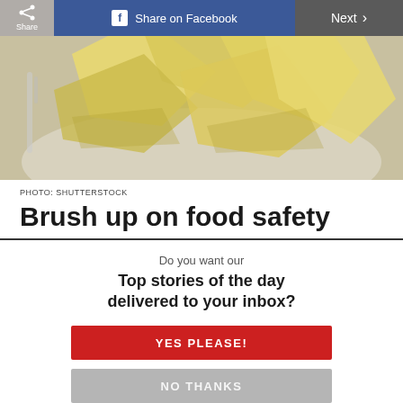[Figure (photo): Close-up photo of sliced yellow cheese pieces on a white plate]
PHOTO: SHUTTERSTOCK
Brush up on food safety
Do you want our
Top stories of the day delivered to your inbox?
YES PLEASE!
NO THANKS